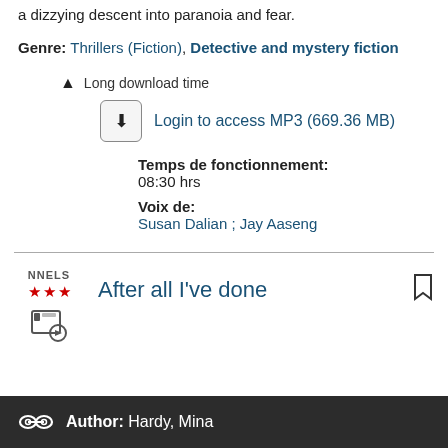a dizzying descent into paranoia and fear.
Genre: Thrillers (Fiction), Detective and mystery fiction
▲ Long download time
Login to access MP3 (669.36 MB)
Temps de fonctionnement:
08:30 hrs
Voix de:
Susan Dalian ; Jay Aaseng
After all I've done
Author: Hardy, Mina